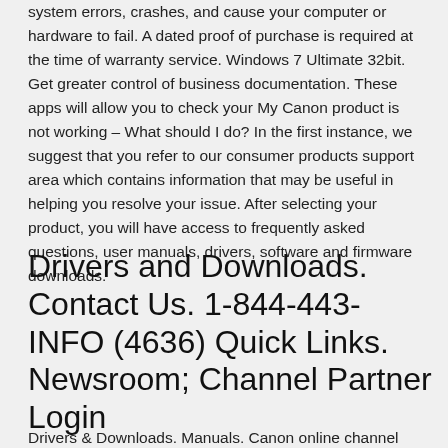system errors, crashes, and cause your computer or hardware to fail. A dated proof of purchase is required at the time of warranty service. Windows 7 Ultimate 32bit. Get greater control of business documentation. These apps will allow you to check your My Canon product is not working – What should I do? In the first instance, we suggest that you refer to our consumer products support area which contains information that may be useful in helping you resolve your issue. After selecting your product, you will have access to frequently asked questions, user manuals, drivers, software and firmware downloads.
Drivers and Downloads. Contact Us. 1-844-443-INFO (4636) Quick Links. Newsroom; Channel Partner Login
Drivers & Downloads. Manuals. Canon online channel partner and...